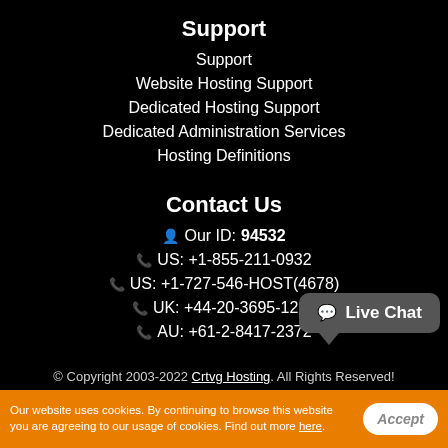Support
Support
Website Hosting Support
Dedicated Hosting Support
Dedicated Administration Services
Hosting Definitions
Contact Us
Our ID: 94532
US: +1-855-211-0932
US: +1-727-546-HOST(4678)
UK: +44-20-3695-1294
AU: +61-2-8417-2372
[Figure (other): Live Chat button bubble]
© Copyright 2003-2022 Crtvg Hosting. All Rights Reserved!
Our website uses cookies. By continuing to browse this website you are agreeing to our usage of cookies. Find out more here.